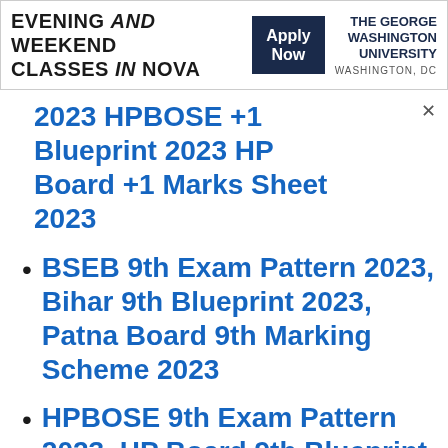[Figure (other): Advertisement banner for The George Washington University Evening and Weekend Classes in NOVA with Apply Now button]
2023 HPBOSE +1 Blueprint 2023 HP Board +1 Marks Sheet 2023
BSEB 9th Exam Pattern 2023, Bihar 9th Blueprint 2023, Patna Board 9th Marking Scheme 2023
HPBOSE 9th Exam Pattern 2023, HP Board 9th Blueprint 2023,